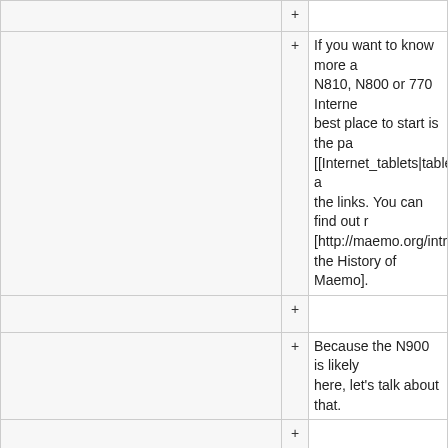|  | + |  |
|  | + | If you want to know more about the N810, N800 or 770 Internet Tablets, the best place to start is the page on [[Internet_tablets|tablets]] and following the links. You can find out more at [http://maemo.org/intro/maemo_history the History of Maemo]. |
|  | + |  |
|  | + | Because the N900 is likely why you're here, let's talk about that. |
|  | + |  |
|  | + | [[#top|top]] |
|  | + |  |
|  | + | == What is The Nokia N900 FAQ! ) == |
|  | + | The N900 is the first of Nokia's Internet Tablets to incorporate full Phone functionality. |
|  | + |  |
|  | + | For some immediate answers to questions and insight, try the [[Frequently asked questions... |